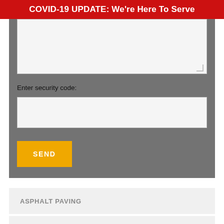COVID-19 UPDATE: We're Here To Serve
[Figure (screenshot): Gray form section with a textarea (message input), a security code label and input field, and a yellow SEND button]
Enter security code:
SEND
ASPHALT PAVING
ASPHALT REPAIR